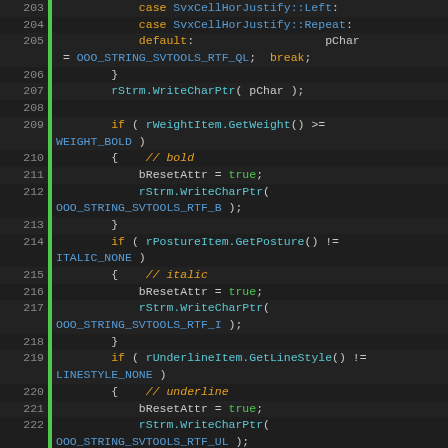[Figure (screenshot): Source code editor screenshot showing C++ code lines 203-228 with syntax highlighting. Dark background with green line markers, orange keywords, cyan function names, and green boolean values.]